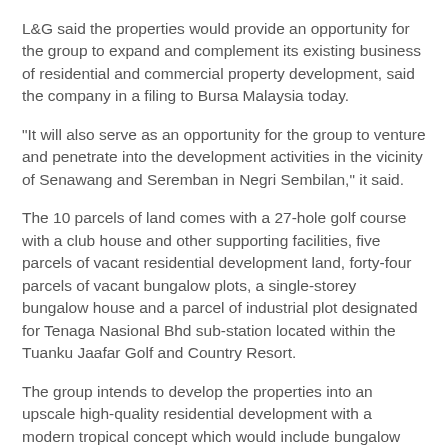L&G said the properties would provide an opportunity for the group to expand and complement its existing business of residential and commercial property development, said the company in a filing to Bursa Malaysia today.
"It will also serve as an opportunity for the group to venture and penetrate into the development activities in the vicinity of Senawang and Seremban in Negri Sembilan," it said.
The 10 parcels of land comes with a 27-hole golf course with a club house and other supporting facilities, five parcels of vacant residential development land, forty-four parcels of vacant bungalow plots, a single-storey bungalow house and a parcel of industrial plot designated for Tenaga Nasional Bhd sub-station located within the Tuanku Jaafar Golf and Country Resort.
The group intends to develop the properties into an upscale high-quality residential development with a modern tropical concept which would include bungalow lots, double-storey cluster semi-detached houses, link cluster houses and apartments.